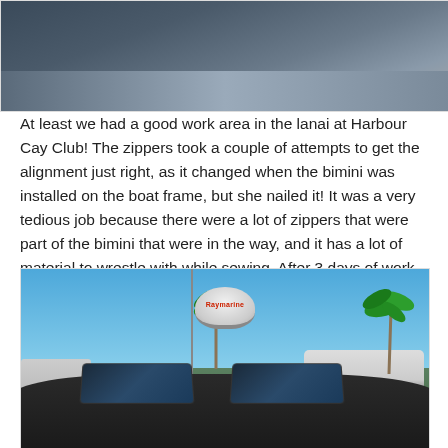[Figure (photo): Close-up photograph of dark navy blue bimini canvas fabric with zipper, showing the material texture]
At least we had a good work area in the lanai at Harbour Cay Club! The zippers took a couple of attempts to get the alignment just right, as it changed when the bimini was installed on the boat frame, but she nailed it! It was a very tedious job because there were a lot of zippers that were part of the bimini that were in the way, and it has a lot of material to wrestle with while sewing. After 3 days of work we installed the panels:
[Figure (photo): Photograph of a boat at a marina dock with a Raymarine radar dome visible, solar panels installed on the dark bimini cover, palm trees in the background, blue sky, and other boats nearby]